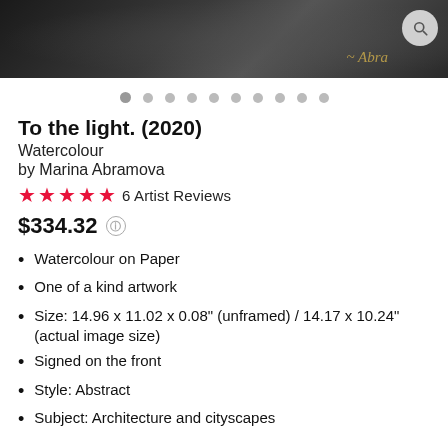[Figure (photo): Dark moody artwork hero image with gold signature and magnifier search button]
To the light. (2020)
Watercolour
by Marina Abramova
★★★★★ 6 Artist Reviews
$334.32
Watercolour on Paper
One of a kind artwork
Size: 14.96 x 11.02 x 0.08" (unframed) / 14.17 x 10.24" (actual image size)
Signed on the front
Style: Abstract
Subject: Architecture and cityscapes